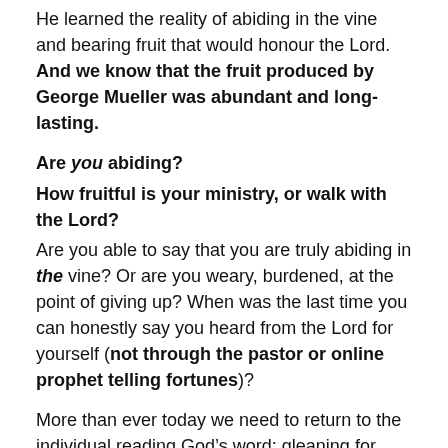He learned the reality of abiding in the vine and bearing fruit that would honour the Lord.  And we know that the fruit produced by George Mueller was abundant and long-lasting.
Are you abiding?
How fruitful is your ministry, or walk with the Lord?
Are you able to say that you are truly abiding in the vine? Or are you weary, burdened, at the point of giving up? When was the last time you can honestly say you heard from the Lord for yourself (not through the pastor or online prophet telling fortunes)?
More than ever today we need to return to the individual reading God’s word; gleaning for ourselves the treasures that can be found within it; taking the time to pray, worship the Lord on our own and seek his face.  To build into our